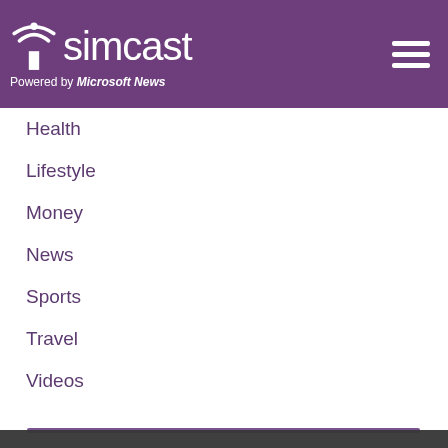simcast — Powered by Microsoft News
Health
Lifestyle
Money
News
Sports
Travel
Videos
This website is using cookies. We use them to give you the best experience. If you continue using our website, we will assume that you are happy to receive all cookies on this website.
[Figure (screenshot): Motorcyclist attempting to drive through flood water, dark murky water scene]
Motorcyclist Makes Valiant Attempt to Drive Through a Flood